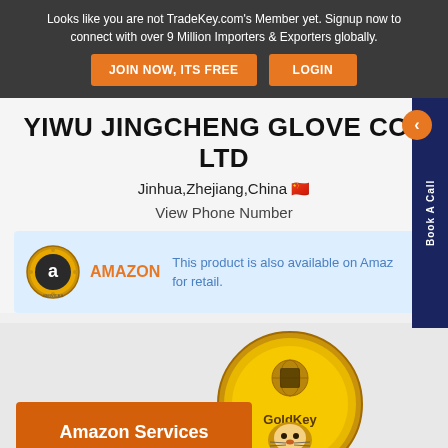Looks like you are not TradeKey.com's Member yet. Signup now to connect with over 9 Million Importers & Exporters globally.
JOIN NOW, ITS FREE
LOGIN
YIWU JINGCHENG GLOVE CO., LTD
Jinhua,Zhejiang,China
View Phone Number
This product is also available on Amazon for retail.
[Figure (logo): Amazon Services logo badge - circular gold badge with 'a' and AMAZON text]
Book A Call
[Figure (logo): GoldKey medal/badge - gold circular medal with globe icon, tiger image and GoldKey text]
Amazon Services